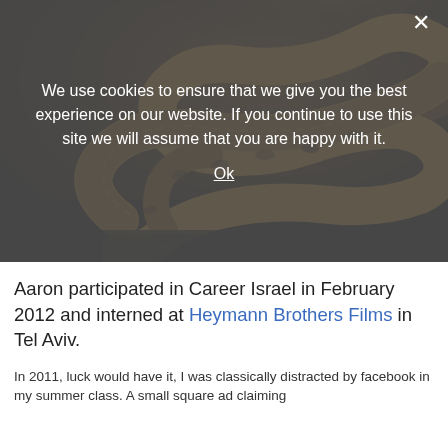[Figure (photo): Dark photograph of a snake (python or large constrictor) resting on the ground, scales visible in warm amber/brown tones with dark background.]
We use cookies to ensure that we give you the best experience on our website. If you continue to use this site we will assume that you are happy with it.
Ok
Aaron participated in Career Israel in February 2012 and interned at Heymann Brothers Films in Tel Aviv.
In 2011, luck would have it, I was classically distracted by facebook in my summer class. A small square ad claiming